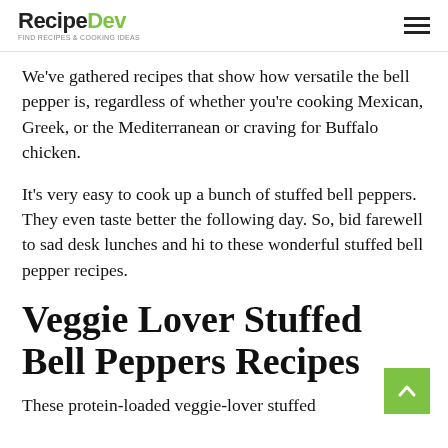RecipeDev
We've gathered recipes that show how versatile the bell pepper is, regardless of whether you're cooking Mexican, Greek, or the Mediterranean or craving for Buffalo chicken.
It's very easy to cook up a bunch of stuffed bell peppers. They even taste better the following day. So, bid farewell to sad desk lunches and hi to these wonderful stuffed bell pepper recipes.
Veggie Lover Stuffed Bell Peppers Recipes
These protein-loaded veggie-lover stuffed